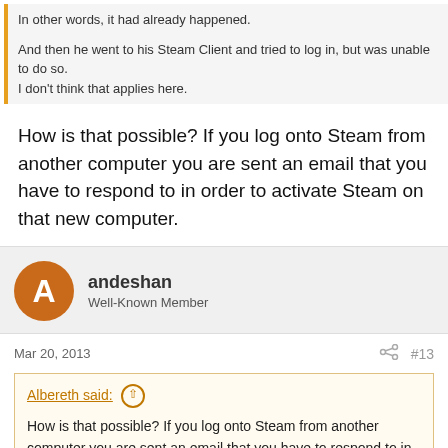In other words, it had already happened.

And then he went to his Steam Client and tried to log in, but was unable to do so.
I don't think that applies here.
How is that possible? If you log onto Steam from another computer you are sent an email that you have to respond to in order to activate Steam on that new computer.
andeshan
Well-Known Member
Mar 20, 2013
#13
Albereth said:
How is that possible? If you log onto Steam from another computer you are sent an email that you have to respond to in order to activate Steam on that new computer.